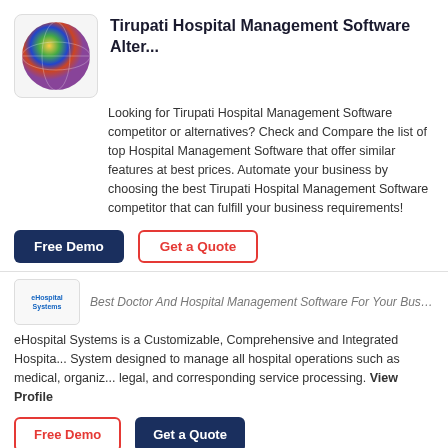Tirupati Hospital Management Software Alter...
Looking for Tirupati Hospital Management Software competitor or alternatives? Check and Compare the list of top Hospital Management Software that offer similar features at best prices. Automate your business by choosing the best Tirupati Hospital Management Software competitor that can fulfill your business requirements!
Free Demo
Get a Quote
Best Doctor And Hospital Management Software For Your Busin...
eHospital Systems is a Customizable, Comprehensive and Integrated Hospital System designed to manage all hospital operations such as medical, organiz... legal, and corresponding service processing. View Profile
Free Demo
Get a Quote
Yasasii
Software BY Kameda Infologics Pvt. Ltd.
Yasasii is a comprehensive Healthcare Information System (HIS) crafted for va...